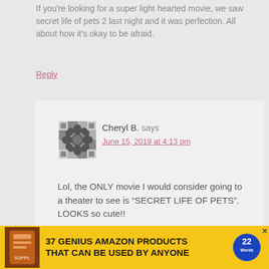If you're looking for a super light hearted movie, we saw secret life of pets 2 last night and it was perfection. All about how it's okay to be afraid.
Reply
Cheryl B. says
June 15, 2019 at 4:13 pm
Lol, the ONLY movie I would consider going to a theater to see is “SECRET LIFE OF PETS”. LOOKS so cute!!
Reply
CLOSE
37 GENIUS AMAZON PRODUCTS THAT CAN BE USED BY ANYONE